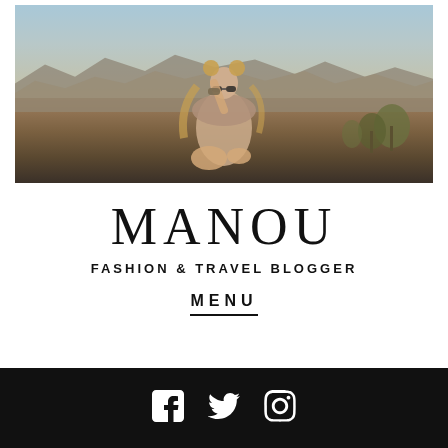[Figure (photo): Fashion model sitting in a desert landscape with mountains in background, wearing a light pink outfit with fur accessories and double bun hairstyle]
MANOU
FASHION & TRAVEL BLOGGER
MENU
[Figure (other): Social media icons: Facebook, Twitter, Instagram on black background bar]